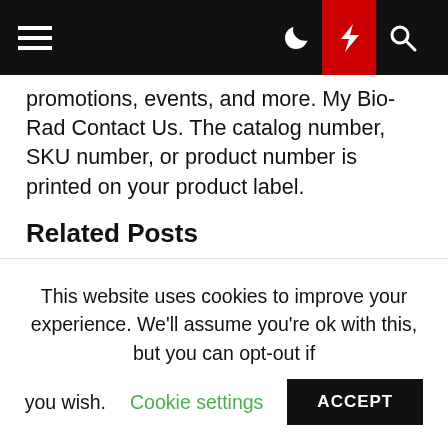Navigation bar with hamburger menu, moon icon, lightning icon, and search icon
promotions, events, and more. My Bio-Rad Contact Us. The catalog number, SKU number, or product number is printed on your product label.
Related Posts
ALLEGRA 25R PDF
GUIDE TO ELECTROPORATION AND ELECTROFUSION PDF
KINGDOM MYCOTA PDF
GDB REFCARD PDF
DATASPRINGS DYNAMIC FORMS PDF
BACTI-CINERATOR IV PDF
JUVENILE PANCREATITIS PDF
This website uses cookies to improve your experience. We'll assume you're ok with this, but you can opt-out if you wish. Cookie settings ACCEPT